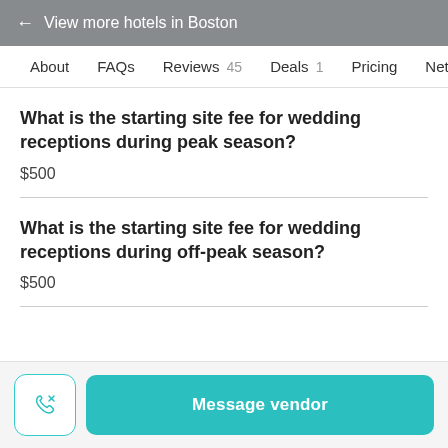← View more hotels in Boston
About   FAQs   Reviews 45   Deals 1   Pricing   Network
What is the starting site fee for wedding receptions during peak season?
$500
What is the starting site fee for wedding receptions during off-peak season?
$500
Message vendor